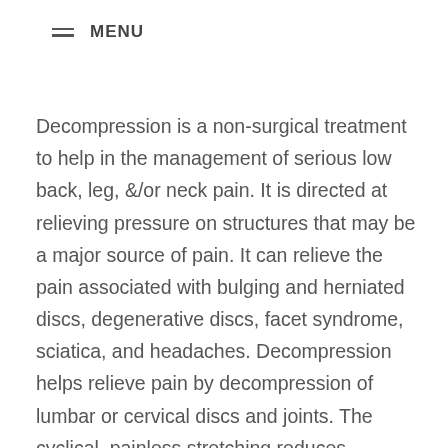MENU
Decompression is a non-surgical treatment to help in the management of serious low back, leg, &/or neck pain. It is directed at relieving pressure on structures that may be a major source of pain. It can relieve the pain associated with bulging and herniated discs, degenerative discs, facet syndrome, sciatica, and headaches. Decompression helps relieve pain by decompression of lumbar or cervical discs and joints. The cyclical, painless stretching reduces pressure and promotes blood and fluid flow. This helps improve healing gently and naturally.